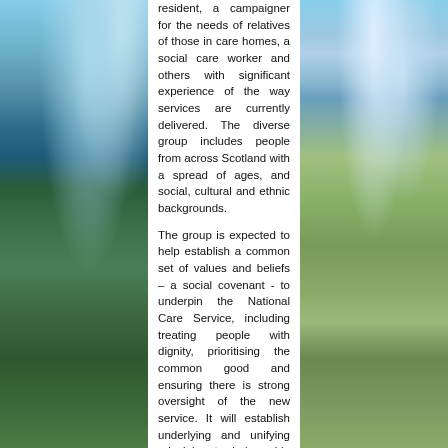[Figure (photo): Left side: Scottish landscape photo showing sea/loch with rocky shore and green hillside]
resident, a campaigner for the needs of relatives of those in care homes, a social care worker and others with significant experience of the way services are currently delivered. The diverse group includes people from across Scotland with a spread of ages, and social, cultural and ethnic backgrounds.

The group is expected to help establish a common set of values and beliefs – a social covenant - to underpin the National Care Service, including treating people with dignity, prioritising the common good and ensuring there is strong oversight of the new service. It will establish underlying and unifying principles to help guide decision-making.

Social Care Minister Kevin Stewart
[Figure (photo): Right side: Scottish landscape photo showing coastal scene with mountains, sea loch, and green hillside under partly cloudy sky]